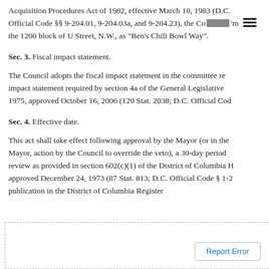Acquisition Procedures Act of 1982, effective March 10, 1983 (D.C. Official Code §§ 9-204.01, 9-204.03a, and 9-204.23), the Co [redacted] m the 1200 block of U Street, N.W., as "Ben's Chili Bowl Way".
Sec. 3. Fiscal impact statement.
The Council adopts the fiscal impact statement in the committee re impact statement required by section 4a of the General Legislative 1975, approved October 16, 2006 (120 Stat. 2038; D.C. Official Cod
Sec. 4. Effective date.
This act shall take effect following approval by the Mayor (or in the Mayor, action by the Council to override the veto), a 30-day period review as provided in section 602(c)(1) of the District of Columbia H approved December 24, 1973 (87 Stat. 813; D.C. Official Code § 1-2 publication in the District of Columbia Register